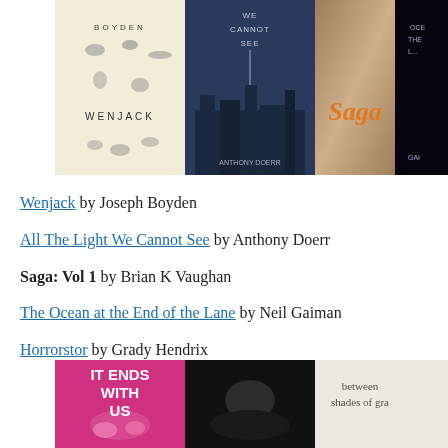[Figure (photo): Top row of book covers: Wenjack by Joseph Boyden (cream/beige with animal illustrations), All The Light We Cannot See by Anthony Doerr (dark blue cityscape), Saga (fantasy illustration), and The Ocean at the End of the Lane by Neil Gaiman (dark cover, partially cropped)]
Wenjack by Joseph Boyden
All The Light We Cannot See by Anthony Doerr
Saga: Vol 1 by Brian K Vaughan
The Ocean at the End of the Lane by Neil Gaiman
Horrorstor by Grady Hendrix
[Figure (photo): Bottom row of book covers partially visible: 'It Ends With Us' (pink/magenta), a dark moody cover, and 'between shades of gra...' (light cover)]